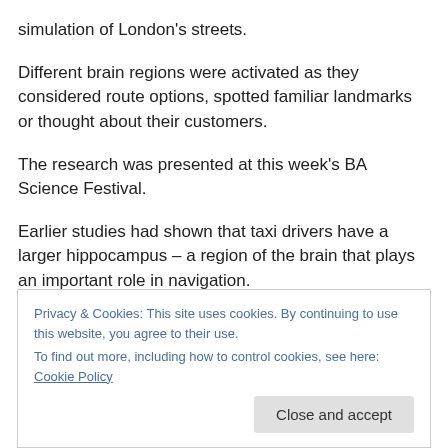simulation of London's streets.
Different brain regions were activated as they considered route options, spotted familiar landmarks or thought about their customers.
The research was presented at this week's BA Science Festival.
Earlier studies had shown that taxi drivers have a larger hippocampus – a region of the brain that plays an important role in navigation.
Privacy & Cookies: This site uses cookies. By continuing to use this website, you agree to their use. To find out more, including how to control cookies, see here: Cookie Policy